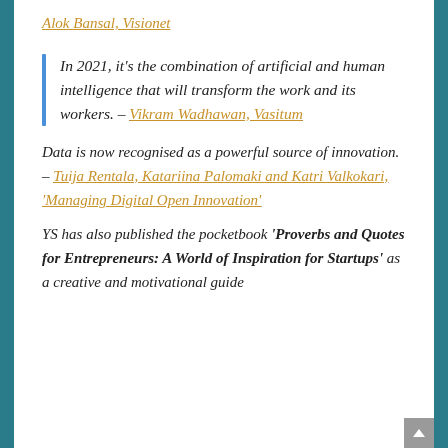Alok Bansal, Visionet
In 2021, it's the combination of artificial and human intelligence that will transform the work and its workers. – Vikram Wadhawan, Vasitum
Data is now recognised as a powerful source of innovation. – Tuija Rentala, Katariina Palomaki and Katri Valkokari, 'Managing Digital Open Innovation'
YS has also published the pocketbook 'Proverbs and Quotes for Entrepreneurs: A World of Inspiration for Startups' as a creative and motivational guide